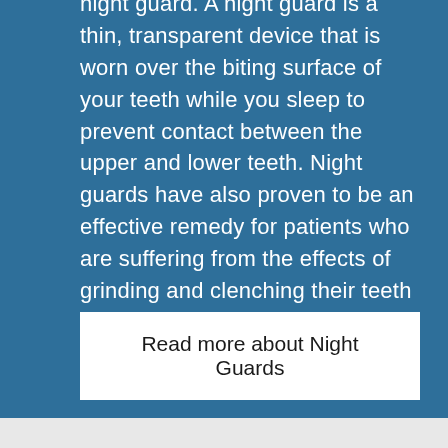night guard. A night guard is a thin, transparent device that is worn over the biting surface of your teeth while you sleep to prevent contact between the upper and lower teeth. Night guards have also proven to be an effective remedy for patients who are suffering from the effects of grinding and clenching their teeth while sleeping.
Read more about Night Guards